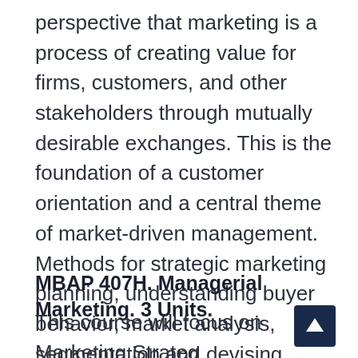perspective that marketing is a process of creating value for firms, customers, and other stakeholders through mutually desirable exchanges. This is the foundation of a customer orientation and a central theme of market-driven management. Methods for strategic marketing planning, understanding buyer behavior, market analysis, segmentation and devising integrated marketing programs are introduced. Prereq: This course is for students in the Part-time Cohort MBA Program.
MBAP 407H. Managerial Marketing. 3 Units.
This course will focus on Marketing Strategy in business organizations. We will use case studies